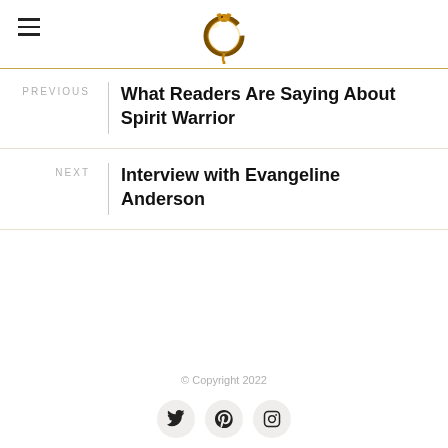[Logo: Dragon/serpent ouroboros gold icon]
PREVIOUS
What Readers Are Saying About Spirit Warrior
NEXT
Interview with Evangeline Anderson
© Copyright 2022